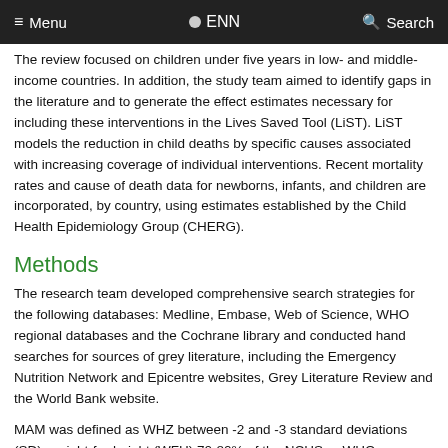≡ Menu   ● ENN   🔍 Search
The review focused on children under five years in low- and middle-income countries. In addition, the study team aimed to identify gaps in the literature and to generate the effect estimates necessary for including these interventions in the Lives Saved Tool (LiST). LiST models the reduction in child deaths by specific causes associated with increasing coverage of individual interventions. Recent mortality rates and cause of death data for newborns, infants, and children are incorporated, by country, using estimates established by the Child Health Epidemiology Group (CHERG).
Methods
The research team developed comprehensive search strategies for the following databases: Medline, Embase, Web of Science, WHO regional databases and the Cochrane library and conducted hand searches for sources of grey literature, including the Emergency Nutrition Network and Epicentre websites, Grey Literature Review and the World Bank website.
MAM was defined as WHZ between -2 and -3 standard deviations (SD), weight-for-height (WFH) 70-80% of the NCHS or WHO reference